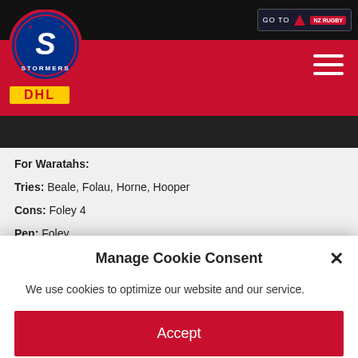[Figure (screenshot): DHL Stormers website header with logo, red navigation bar, hamburger menu, and NZ Rugby GO TO button]
For Waratahs:
Tries: Beale, Folau, Horne, Hooper
Cons: Foley 4
Pen: Foley
Teams:
DHL Stormers: 15 Cheslin Kolbe, 14 Kobus van Wyk, 13 Juan de Jongh (co-captain), 12 Damian de Allende, 11 Leolin Zas, 10 Jean-...
Manage Cookie Consent
We use cookies to optimize our website and our service.
Accept
Deny